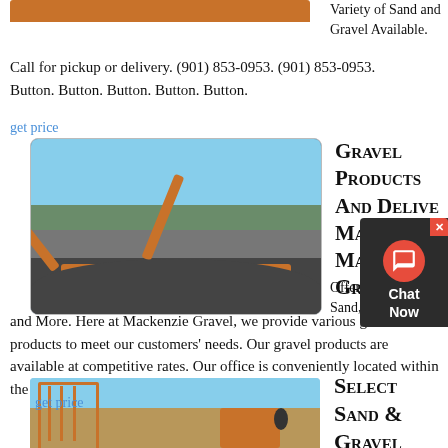[Figure (photo): Orange/brown strip at top, partial image of material]
Variety of Sand and Gravel Available. Call for pickup or delivery. (901) 853-0953. (901) 853-0953. Button. Button. Button. Button. Button.
get price
[Figure (photo): Yellow industrial gravel crushing/screening machinery at a quarry site with dark gravel piles and cloudy sky]
Gravel Products And Delivery Mackenzie Mackenzie Gravel
Offering Gravel, Sand, Aggregates, and More. Here at Mackenzie Gravel, we provide various gravel products to meet our customers' needs. Our gravel products are available at competitive rates. Our office is conveniently located within the community, so you can reach us
get price
[Figure (photo): Construction site with scaffolding and heavy machinery]
Select Sand & Gravel Sand, Gravel,